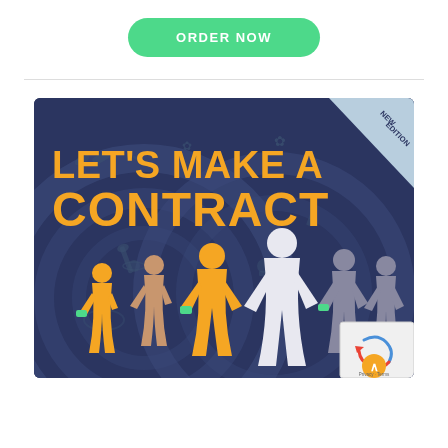[Figure (other): Green rounded rectangle button with white uppercase text 'ORDER NOW']
[Figure (illustration): Book cover for 'LET'S MAKE A CONTRACT' new edition. Dark navy blue background with swirl patterns. Orange bold title text. Silhouette figures of people: orange, tan/beige, white, and grey figures walking and interacting, with green accents (money/documents) in hands. Small icons of cannabis leaf, bandage, tools, skull and crossbones scattered in background. 'NEW EDITION' badge in top-right corner triangle.]